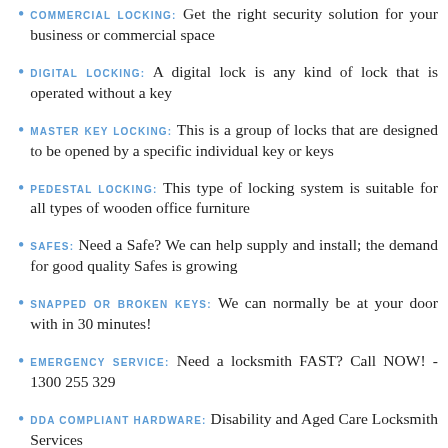COMMERCIAL LOCKING: Get the right security solution for your business or commercial space
DIGITAL LOCKING: A digital lock is any kind of lock that is operated without a key
MASTER KEY LOCKING: This is a group of locks that are designed to be opened by a specific individual key or keys
PEDESTAL LOCKING: This type of locking system is suitable for all types of wooden office furniture
SAFES: Need a Safe? We can help supply and install; the demand for good quality Safes is growing
SNAPPED OR BROKEN KEYS: We can normally be at your door with in 30 minutes!
EMERGENCY SERVICE: Need a locksmith FAST? Call NOW! - 1300 255 329
DDA COMPLIANT HARDWARE: Disability and Aged Care Locksmith Services